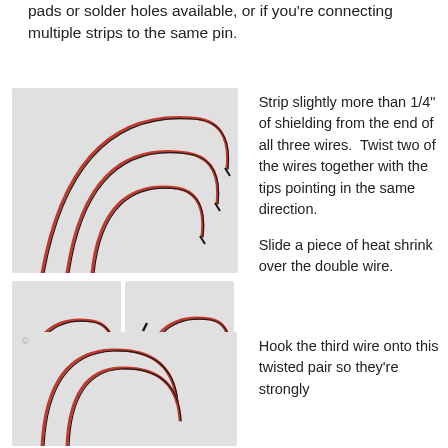pads or solder holes available, or if you're connecting multiple strips to the same pin.
[Figure (photo): Three curved red and black wires with stripped ends arranged in arcs on a light gray background]
[Figure (photo): Two curved red and black wires with stripped ends on a light gray background]
[Figure (photo): Two curved red and black wires with stripped ends on a light gray background, closer view]
Strip slightly more than 1/4" of shielding from the end of all three wires.  Twist two of the wires together with the tips pointing in the same direction.

Slide a piece of heat shrink over the double wire.
[Figure (photo): Two wires hooked together in arcs on a light gray background]
Hook the third wire onto this twisted pair so they're strongly